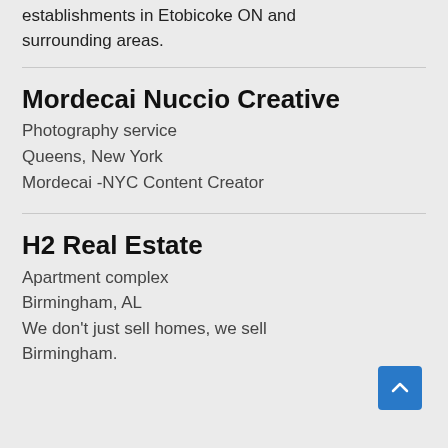establishments in Etobicoke ON and surrounding areas.
Mordecai Nuccio Creative
Photography service
Queens, New York
Mordecai -NYC Content Creator
H2 Real Estate
Apartment complex
Birmingham, AL
We don't just sell homes, we sell Birmingham.